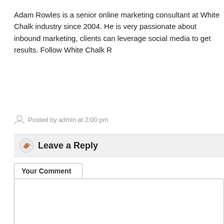Adam Rowles is a senior online marketing consultant at White Chalk industry since 2004. He is very passionate about inbound marketing, clients can leverage social media to get results. Follow White Chalk R
Posted by admin at 2:00 pm
Leave a Reply
Your Comment